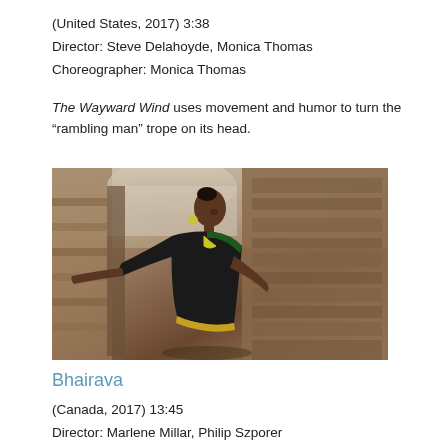(United States, 2017) 3:38
Director: Steve Delahoyde, Monica Thomas
Choreographer: Monica Thomas
The Wayward Wind uses movement and humor to turn the “rambling man” trope on its head.
[Figure (photo): A woman dancer wearing a black saree with green and gold border, dancing in an outdoor ruined stone archway setting. She has her arms extended in a classical Indian dance pose.]
Bhairava
(Canada, 2017) 13:45
Director: Marlene Millar, Philip Szporer
Choreographer: Shantala Shivalingappa